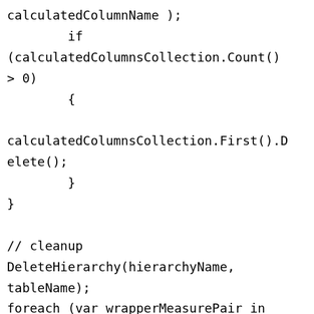calculatedColumnName );
        if (calculatedColumnsCollection.Count() > 0)
        {

calculatedColumnsCollection.First().Delete();
        }
}

// cleanup
DeleteHierarchy(hierarchyName, tableName);
foreach (var wrapperMeasurePair in measuresToWrap)